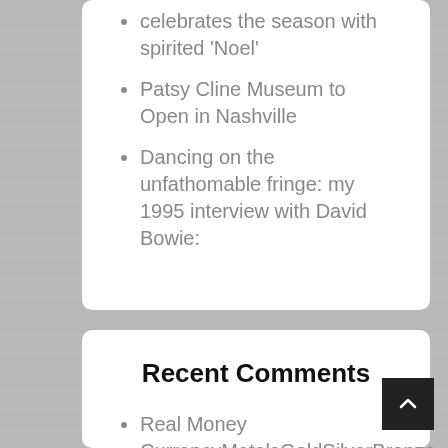celebrates the season with spirited 'Noel'
Patsy Cline Museum to Open in Nashville
Dancing on the unfathomable fringe: my 1995 interview with David Bowie:
Recent Comments
Real Money CurrencyMetalsGoldSilverBronze on "Lombardi's Live" offers an intimate